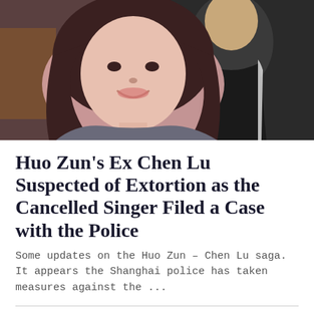[Figure (photo): Close-up photo of two people, a woman with long dark hair smiling in the foreground and a person in a dark jacket partially visible behind her.]
Huo Zun's Ex Chen Lu Suspected of Extortion as the Cancelled Singer Filed a Case with the Police
Some updates on the Huo Zun – Chen Lu saga. It appears the Shanghai police has taken measures against the ...
The Rise of Phoenixes ratings disappoint, production speaks out